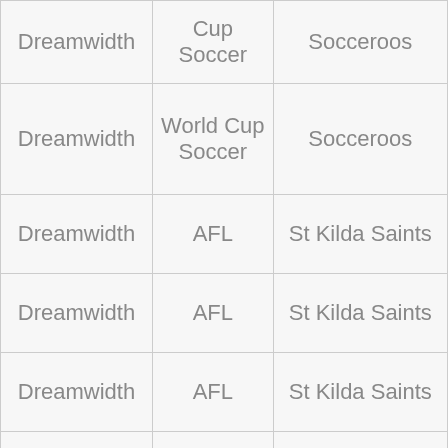| Dreamwidth | Cup Soccer | Socceroos |
| Dreamwidth | World Cup Soccer | Socceroos |
| Dreamwidth | AFL | St Kilda Saints |
| Dreamwidth | AFL | St Kilda Saints |
| Dreamwidth | AFL | St Kilda Saints |
| Dreamwidth | NRL | Sydney Roosters |
| Dreamwidth | AFL | Sydney Swans |
| Dreamwidth | AFL | Sydney Swans |
| Dreamwidth | AFL | Sydney Swans |